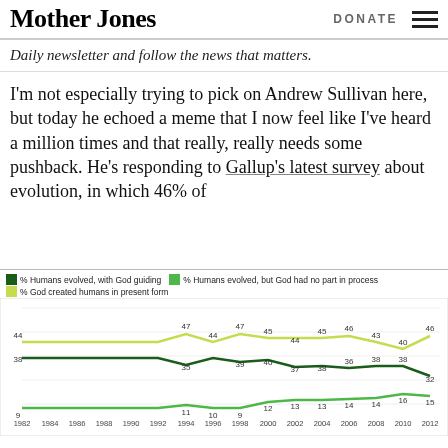Mother Jones | DONATE
Daily newsletter and follow the news that matters.
I'm not especially trying to pick on Andrew Sullivan here, but today he echoed a meme that I now feel like I've heard a million times and that really, really needs some pushback. He's responding to Gallup's latest survey about evolution, in which 46% of
[Figure (line-chart): Evolution beliefs over time]